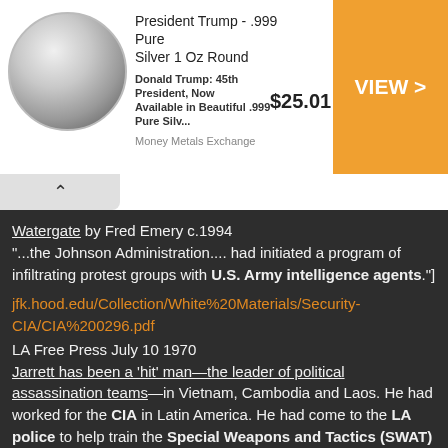[Figure (infographic): Advertisement banner for President Trump .999 Pure Silver 1 Oz Round coin, showing a silver coin image, product title, description, price $25.01, and VIEW button. Source: Money Metals Exchange.]
Watergate by Fred Emery c.1994
"...the Johnson Administration.... had initiated a program of infiltrating protest groups with U.S. Army intelligence agents."]
jfk.hood.edu/Collection/White%20Materials/Security-CIA/CIA%200296.pdf
LA Free Press July 10 1970
Jarrett has been a 'hit' man—the leader of political assassination teams—in Vietnam, Cambodia and Laos. He had worked for the CIA in Latin America. He had come to the LA police to help train the Special Weapons and Tactics (SWAT) squad, which was responsible for the raid on the Black Panther Party headquarters last December(of 1969).